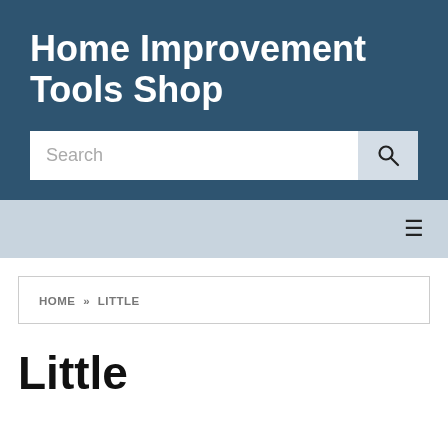Home Improvement Tools Shop
Search
≡
HOME » LITTLE
Little